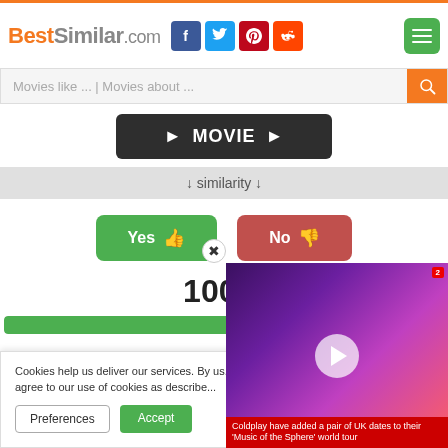BestSimilar.com
Movies like ... | Movies about ...
[Figure (screenshot): Dark movie button with play arrows and MOVIE text]
↓ similarity ↓
[Figure (screenshot): Yes thumbs up button (green) and No thumbs down button (red)]
100%
[Figure (infographic): Green progress bar showing approximately 55% fill]
Cookies help us deliver our services. By us... you agree to our use of cookies as describe...
[Figure (screenshot): Video overlay showing concert performance with Coldplay caption and red news logo]
Coldplay have added a pair of UK dates to their 'Music of the Sphere' world tour